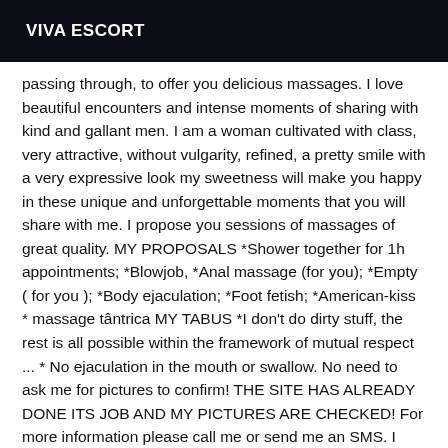VIVA ESCORT
passing through, to offer you delicious massages. I love beautiful encounters and intense moments of sharing with kind and gallant men. I am a woman cultivated with class, very attractive, without vulgarity, refined, a pretty smile with a very expressive look my sweetness will make you happy in these unique and unforgettable moments that you will share with me. I propose you sessions of massages of great quality. MY PROPOSALS *Shower together for 1h appointments; *Blowjob, *Anal massage (for you); *Empty ( for you ); *Body ejaculation; *Foot fetish; *American-kiss * massage tântrica MY TABUS *I don't do dirty stuff, the rest is all possible within the framework of mutual respect ... * No ejaculation in the mouth or swallow. No need to ask me for pictures to confirm! THE SITE HAS ALREADY DONE ITS JOB AND MY PICTURES ARE CHECKED! For more information please call me or send me an SMS. I don't answer hidden numbers! MY RATES ARE NOT